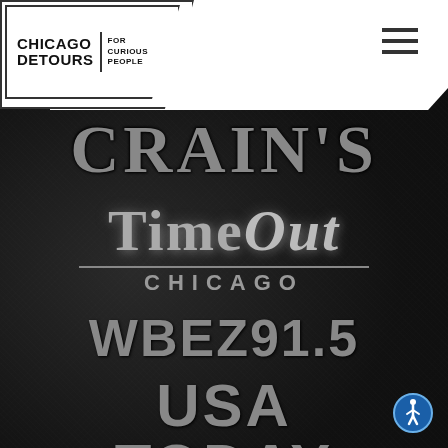[Figure (logo): Chicago DeTours 'For Curious People' logo on white ribbon banner in top left corner]
CRAINS'S
[Figure (logo): Time Out Chicago logo with dividing line and 'CHICAGO' text below]
WBEZ91.5
USA TODAY
A GANNETT COMPANY
[Figure (illustration): Blue accessibility (wheelchair) icon in bottom right corner]